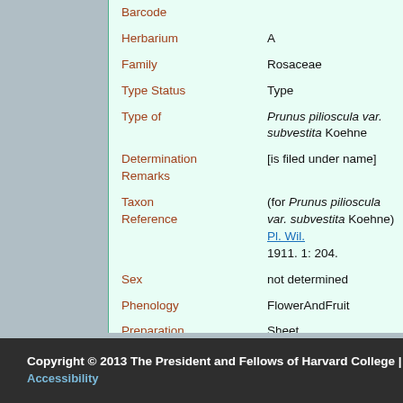| Field | Value |
| --- | --- |
| Barcode |  |
| Herbarium | A |
| Family | Rosaceae |
| Type Status | Type |
| Type of | Prunus pilioscula var. subvestita Koehne |
| Determination Remarks | [is filed under name] |
| Taxon Reference | (for Prunus pilioscula var. subvestita Koehne) Pl. Wil. 1911. 1: 204. |
| Sex | not determined |
| Phenology | FlowerAndFruit |
| Preparation Type | Sheet |
| Preparation Method | Pressed |
Copyright © 2013 The President and Fellows of Harvard College | Accessibility